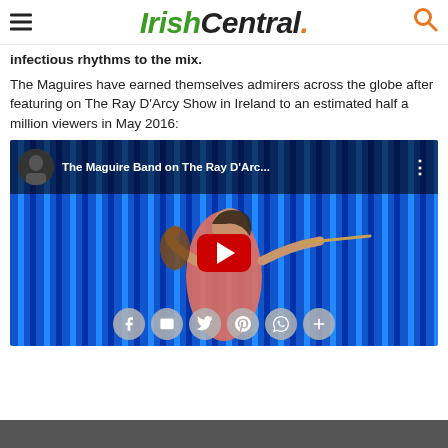IrishCentral.
infectious rhythms to the mix.
The Maguires have earned themselves admirers across the globe after featuring on The Ray D'Arcy Show in Ireland to an estimated half a million viewers in May 2016:
[Figure (screenshot): YouTube video embed showing 'The Maguire Band on The Ray D'Arc...' with a woman playing violin on a blue striped stage background, with a red YouTube play button in the center and social share buttons (Facebook, email, Twitter, Pinterest, WhatsApp, more) overlaid at the bottom.]